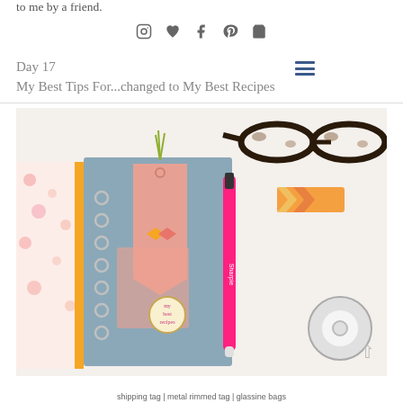to me by a friend.
[Figure (other): Social media icons: Instagram, heart/Bloglovin, Facebook, Pinterest, shopping cart]
Day 17
My Best Tips For...changed to My Best Recipes
[Figure (photo): Flatlay photo of a craft/planner journal with a pink salmon-colored tag, green twine, washi tape, a bright pink Sharpie marker, glasses in top right corner, washi tape roll, and a round tag reading 'my best recipes'. Colorful chevron stickers visible.]
shipping tag | metal rimmed tag | glassine bags